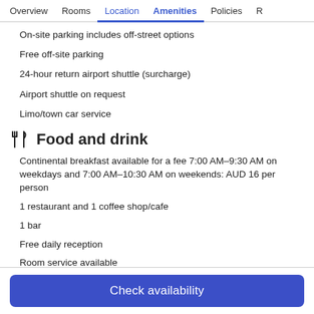Overview  Rooms  Location  Amenities  Policies  R
On-site parking includes off-street options
Free off-site parking
24-hour return airport shuttle (surcharge)
Airport shuttle on request
Limo/town car service
Food and drink
Continental breakfast available for a fee 7:00 AM–9:30 AM on weekdays and 7:00 AM–10:30 AM on weekends: AUD 16 per person
1 restaurant and 1 coffee shop/cafe
1 bar
Free daily reception
Room service available
Check availability